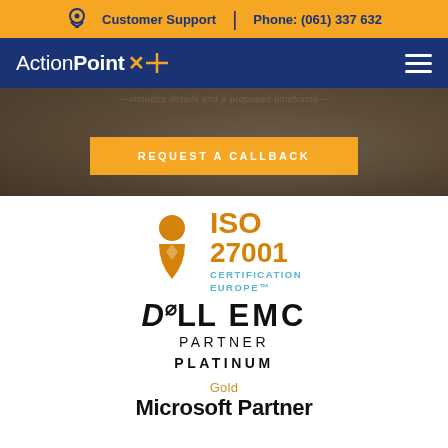Customer Support  |  Phone: (061) 337 632
[Figure (logo): ActionPoint logo with plus icon in white on dark blue navigation bar]
[Figure (photo): Hero image with blurred laptop background, REQUEST A CALLBACK button in gold]
[Figure (logo): ISO 27001 Certification Europe logo with orange figure/ribbon icon]
[Figure (logo): Dell EMC Partner Platinum logo in black]
Gold
Microsoft Partner